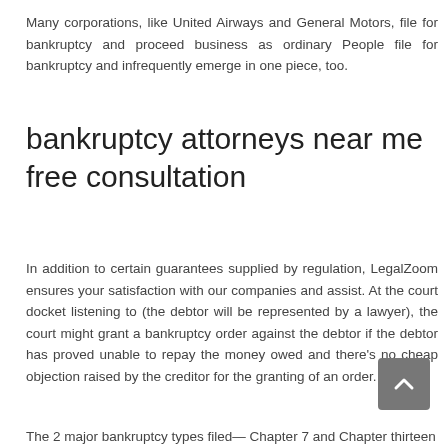Many corporations, like United Airways and General Motors, file for bankruptcy and proceed business as ordinary People file for bankruptcy and infrequently emerge in one piece, too.
bankruptcy attorneys near me free consultation
In addition to certain guarantees supplied by regulation, LegalZoom ensures your satisfaction with our companies and assist. At the court docket listening to (the debtor will be represented by a lawyer), the court might grant a bankruptcy order against the debtor if the debtor has proved unable to repay the money owed and there's no cheap objection raised by the creditor for the granting of an order.
The 2 major bankruptcy types filed— Chapter 7 and Chapter thirteen